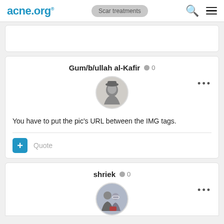acne.org® Scar treatments
Gum/b/ullah al-Kafir 0
[Figure (photo): Round avatar photo of user Gum/b/ullah al-Kafir showing a historical portrait illustration]
You have to put the pic's URL between the IMG tags.
Quote
shriek 0
[Figure (photo): Round avatar photo of user shriek showing two people]